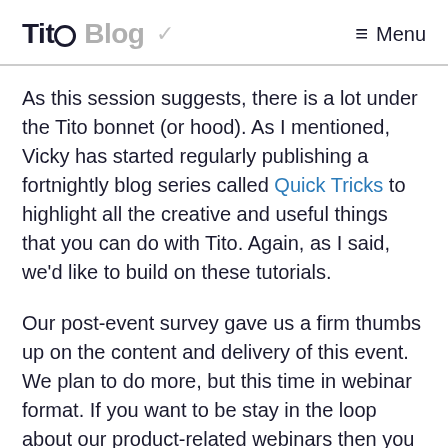Tito Blog  ≡ Menu
As this session suggests, there is a lot under the Tito bonnet (or hood). As I mentioned, Vicky has started regularly publishing a fortnightly blog series called Quick Tricks to highlight all the creative and useful things that you can do with Tito. Again, as I said, we'd like to build on these tutorials.
Our post-event survey gave us a firm thumbs up on the content and delivery of this event. We plan to do more, but this time in webinar format. If you want to be stay in the loop about our product-related webinars then you can do